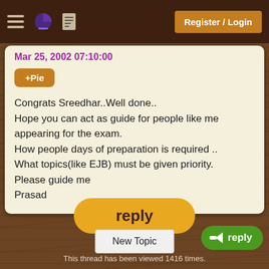Register / Login
Mar 25, 2002 07:10:00
+Pie
Congrats Sreedhar..Well done..
Hope you can act as guide for people like me appearing for the exam.
How people days of preparation is required ..
What topics(like EJB) must be given priority.
Please guide me
Prasad
reply
New Topic
reply
This thread has been viewed 1416 times.